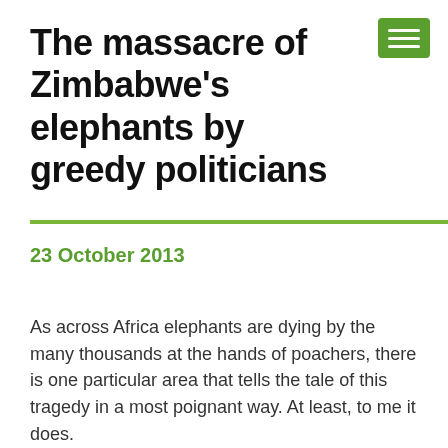The massacre of Zimbabwe's elephants by greedy politicians
23 October 2013
As across Africa elephants are dying by the many thousands at the hands of poachers, there is one particular area that tells the tale of this tragedy in a most poignant way. At least, to me it does. This place is Zimbabwe's Hwange National Park. Hwange was once an African paradise where many hundreds of elephants roamed freely. They were protected by a decree issued by President Mugabe in